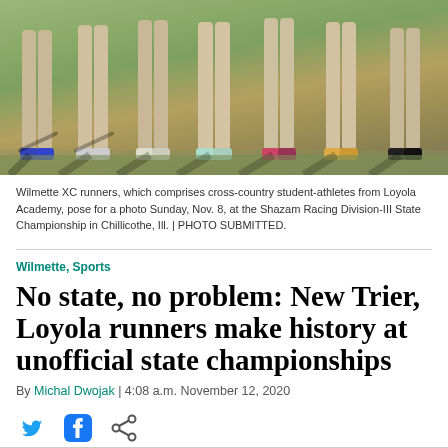[Figure (photo): Group photo showing legs and feet of Wilmette XC runners standing on grass at a cross-country race event, with long shadows cast on the ground.]
Wilmette XC runners, which comprises cross-country student-athletes from Loyola Academy, pose for a photo Sunday, Nov. 8, at the Shazam Racing Division-III State Championship in Chillicothe, Ill. | PHOTO SUBMITTED.
Wilmette, Sports
No state, no problem: New Trier, Loyola runners make history at unofficial state championships
By Michal Dwojak | 4:08 a.m. November 12, 2020